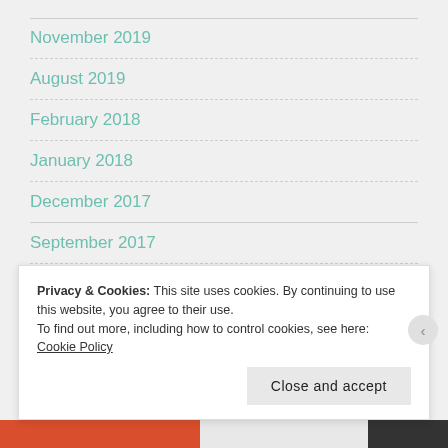November 2019
August 2019
February 2018
January 2018
December 2017
September 2017
August 2017
Privacy & Cookies: This site uses cookies. By continuing to use this website, you agree to their use.
To find out more, including how to control cookies, see here: Cookie Policy
Close and accept